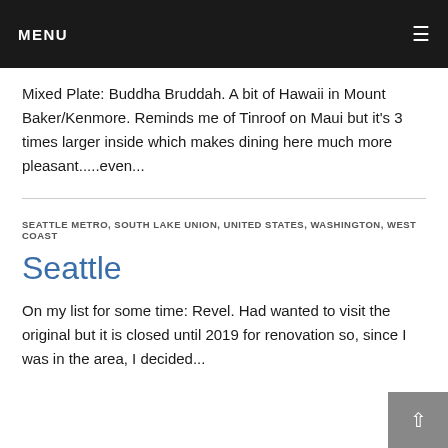MENU
Mixed Plate: Buddha Bruddah. A bit of Hawaii in Mount Baker/Kenmore. Reminds me of Tinroof on Maui but it’s 3 times larger inside which makes dining here much more pleasant.....even...
SEATTLE METRO, SOUTH LAKE UNION, UNITED STATES, WASHINGTON, WEST COAST
Seattle
On my list for some time: Revel. Had wanted to visit the original but it is closed until 2019 for renovation so, since I was in the area, I decided...